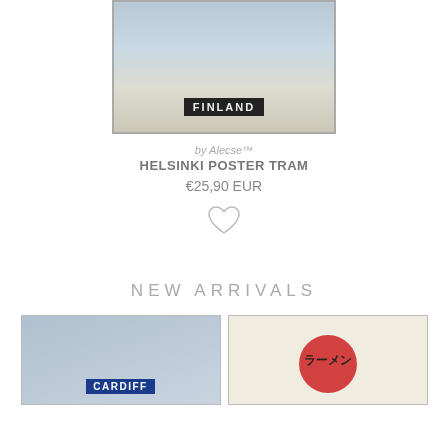[Figure (photo): Framed Finland travel poster leaning against a white wall on white wooden floor]
by Alecse™
HELSINKI POSTER TRAM
€25,90 EUR
[Figure (illustration): Heart/wishlist outline icon]
NEW ARRIVALS
[Figure (photo): Framed Cardiff travel poster]
[Figure (photo): Ramen Japanese poster with Japanese characters and red circle design]